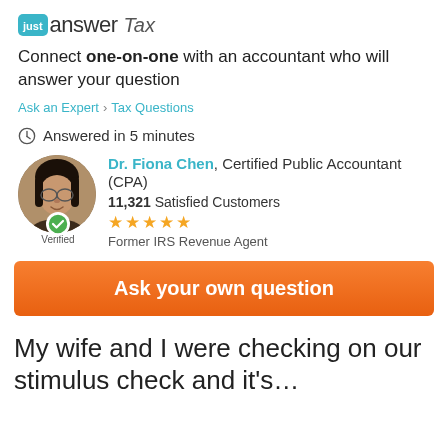[Figure (logo): JustAnswer Tax logo with teal 'just' box and 'answer' wordmark followed by italic 'Tax']
Connect one-on-one with an accountant who will answer your question
Ask an Expert > Tax Questions
Answered in 5 minutes
[Figure (photo): Circular headshot of Dr. Fiona Chen with green verified checkmark badge below]
Dr. Fiona Chen, Certified Public Accountant (CPA)
11,321 Satisfied Customers
★★★★★
Former IRS Revenue Agent
Ask your own question
My wife and I were checking on our stimulus check and it's…